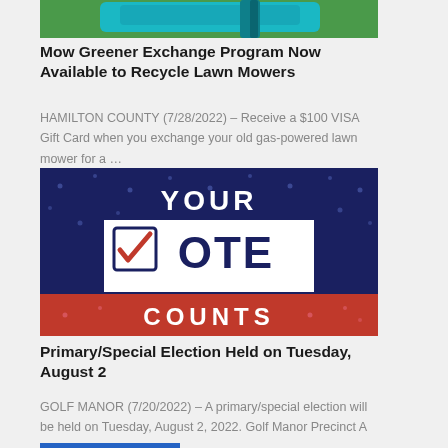[Figure (photo): Photo of a green lawn mower on grass, partially shown at top of image.]
Mow Greener Exchange Program Now Available to Recycle Lawn Mowers
HAMILTON COUNTY (7/28/2022) – Receive a $100 VISA Gift Card when you exchange your old gas-powered lawn mower for a …
[Figure (illustration): Graphic with dark blue star-spangled background reading YOUR VOTE COUNTS, with a checkmark in a box replacing the V in VOTE, on a red banner.]
Primary/Special Election Held on Tuesday, August 2
GOLF MANOR (7/20/2022) – A primary/special election will be held on Tuesday, August 2, 2022. Golf Manor Precinct A & …